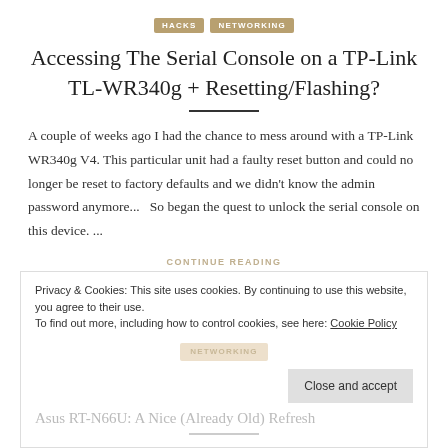HACKS  NETWORKING
Accessing The Serial Console on a TP-Link TL-WR340g + Resetting/Flashing?
A couple of weeks ago I had the chance to mess around with a TP-Link WR340g V4. This particular unit had a faulty reset button and could no longer be reset to factory defaults and we didn't know the admin password anymore...   So began the quest to unlock the serial console on this device. ...
CONTINUE READING
Privacy & Cookies: This site uses cookies. By continuing to use this website, you agree to their use.
To find out more, including how to control cookies, see here: Cookie Policy
Close and accept
NETWORKING
Asus RT-N66U: A Nice (Already Old) Refresh